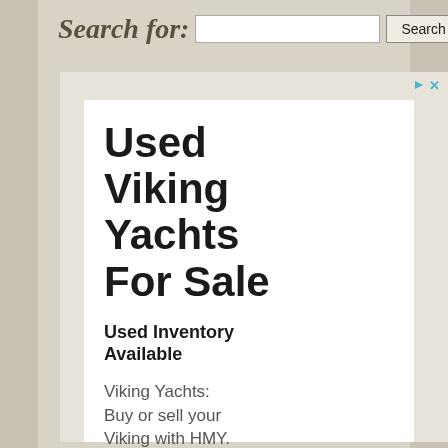Search for:
[Figure (screenshot): Advertisement box with small triangle and X close icons in top-right corner, containing a white inner ad panel with the text 'Used Viking Yachts For Sale', 'Used Inventory Available', and 'Viking Yachts: Buy or sell your Viking with HMY. Used Viking Yachts available.']